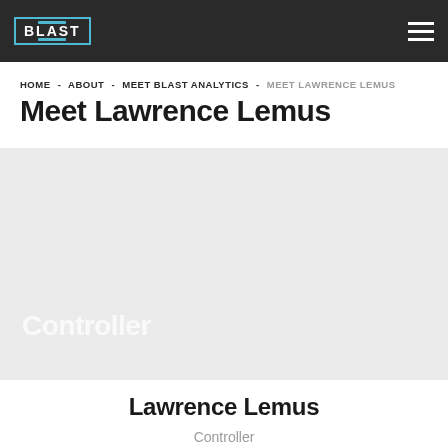BLAST
HOME - ABOUT - MEET BLAST ANALYTICS - MEET LAWRENCE LEMUS
Meet Lawrence Lemus
[Figure (photo): Gray placeholder image area with 'Controller' text overlay in white]
Lawrence Lemus
Controller